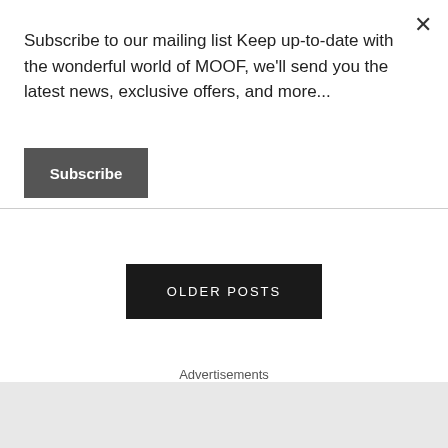Subscribe to our mailing list Keep up-to-date with the wonderful world of MOOF, we'll send you the latest news, exclusive offers, and more...
Subscribe
OLDER POSTS
Advertisements
Advertisements
[Figure (other): Longreads advertisement banner: red background with Longreads logo and tagline 'The best stories on the web – ours, and everyone else's.']